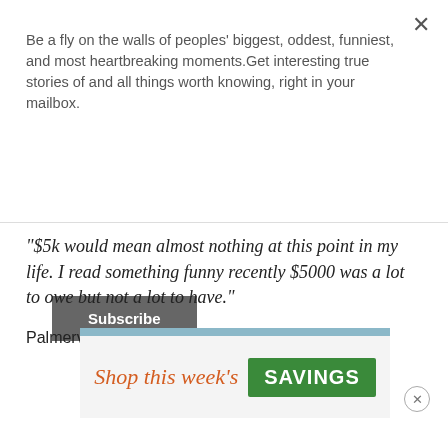Be a fly on the walls of peoples' biggest, oddest, funniest, and most heartbreaking moments.Get interesting true stories of and all things worth knowing, right in your mailbox.
Subscribe
"$5k would mean almost nothing at this point in my life. I read something funny recently $5000 was a lot to owe but not a lot to have."
Palmervarian
[Figure (infographic): Advertisement banner reading 'Shop this week's SAVINGS' with orange script text and green button]